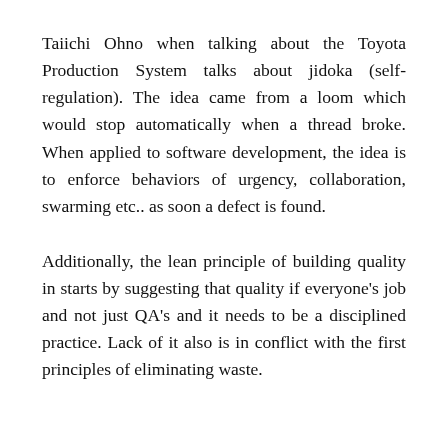Taiichi Ohno when talking about the Toyota Production System talks about jidoka (self-regulation). The idea came from a loom which would stop automatically when a thread broke. When applied to software development, the idea is to enforce behaviors of urgency, collaboration, swarming etc.. as soon a defect is found.
Additionally, the lean principle of building quality in starts by suggesting that quality if everyone's job and not just QA's and it needs to be a disciplined practice. Lack of it also is in conflict with the first principles of eliminating waste.